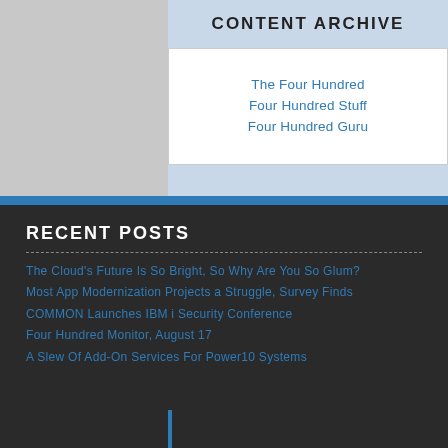CONTENT ARCHIVE
The Four Hundred
Four Hundred Stuff
Four Hundred Guru
RECENT POSTS
The Cloud's Future Is So Bright, So Why Are You So Glum?
Most App Modernization Projects a Struggle, Survey Finds
COMMON Launches IBM i Security Conference
Four Hundred Monitor, August 17
A Slew Of Add-On Services For Power10 Systems